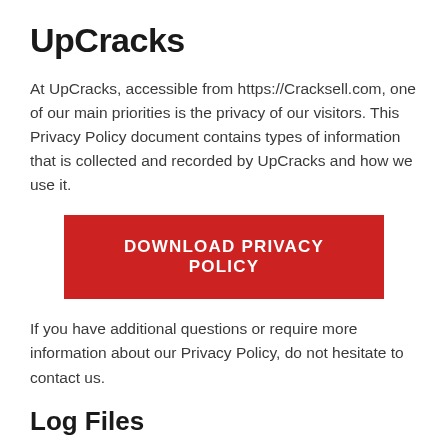UpCracks
At UpCracks, accessible from https://Cracksell.com, one of our main priorities is the privacy of our visitors. This Privacy Policy document contains types of information that is collected and recorded by UpCracks and how we use it.
[Figure (other): Red button labeled DOWNLOAD PRIVACY POLICY]
If you have additional questions or require more information about our Privacy Policy, do not hesitate to contact us.
Log Files